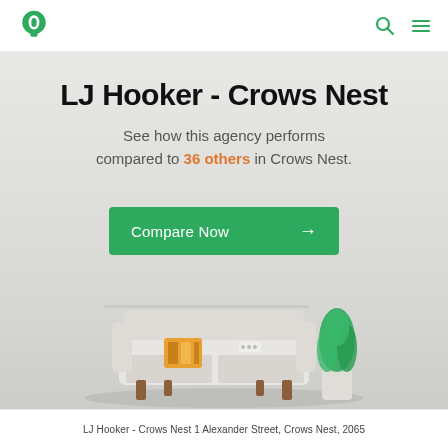LJ Hooker logo, search icon, menu icon
LJ Hooker - Crows Nest
See how this agency performs compared to 36 others in Crows Nest.
[Figure (illustration): Green 'Compare Now' button with arrow, over a hero background image showing a minimalist interior scene with a sofa, throw pillow, and potted plant on a light grey background]
LJ Hooker - Crows Nest 1 Alexander Street, Crows Nest, 2065